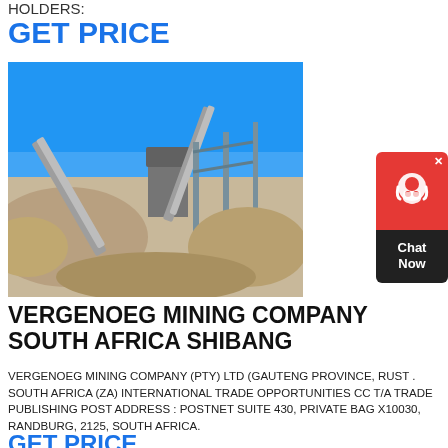HOLDERS:
GET PRICE
[Figure (photo): Quarry/mining site with stone crushing conveyor equipment and machinery under blue sky, surrounded by gravel and rock piles.]
[Figure (other): Chat Now widget with red bubble background and headset icon, dark lower section with 'Chat Now' text, and X close button.]
VERGENOEG MINING COMPANY SOUTH AFRICA SHIBANG
VERGENOEG MINING COMPANY (PTY) LTD (GAUTENG PROVINCE, RUST . SOUTH AFRICA (ZA) INTERNATIONAL TRADE OPPORTUNITIES CC T/A TRADE PUBLISHING POST ADDRESS : POSTNET SUITE 430, PRIVATE BAG X10030, RANDBURG, 2125, SOUTH AFRICA.
GET PRICE